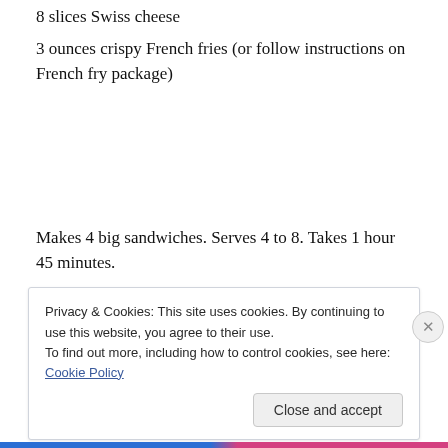8 slices Swiss cheese (partially visible, cut off at top)
3 ounces crispy French fries (or follow instructions on French fry package)
Makes 4 big sandwiches. Serves 4 to 8. Takes 1 hour 45 minutes.
PREPARATION
Mix... (partially visible, cut off by cookie banner)
Privacy & Cookies: This site uses cookies. By continuing to use this website, you agree to their use.
To find out more, including how to control cookies, see here: Cookie Policy
Close and accept